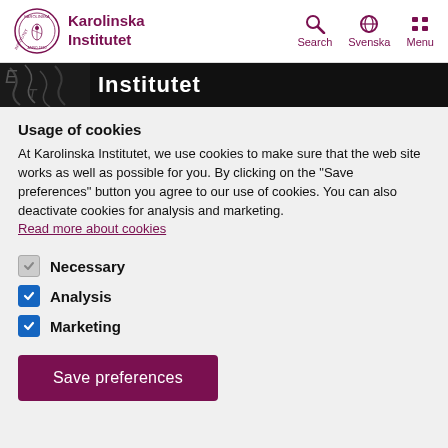[Figure (logo): Karolinska Institutet logo with circular seal and text]
[Figure (screenshot): Navigation bar with Search, Svenska, Menu icons in purple]
[Figure (photo): Black banner with decorative background image and text 'Institutet']
Usage of cookies
At Karolinska Institutet, we use cookies to make sure that the web site works as well as possible for you. By clicking on the "Save preferences" button you agree to our use of cookies. You can also deactivate cookies for analysis and marketing.
Read more about cookies
Necessary
Analysis
Marketing
Save preferences